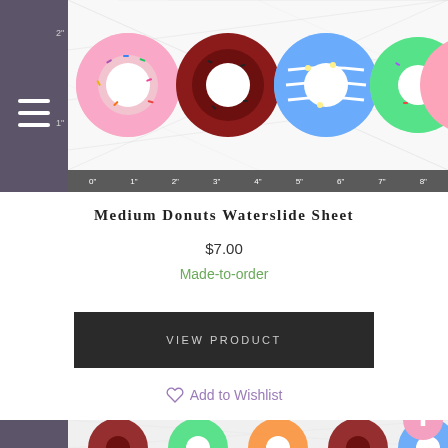[Figure (photo): Product photo of Medium Donuts Waterslide Sheet showing colorful donut illustrations on a measurement grid with ruler markings at 0-8 inches horizontally and 1-2 inches vertically. A purple sidebar with hamburger menu icon is on the left.]
Medium Donuts Waterslide Sheet
$7.00
Made-to-order
VIEW PRODUCT
Add to Wishlist
[Figure (photo): Bottom product photo showing more donut illustrations on measurement grid with ruler markings at 10-11 inches vertically, partially visible.]